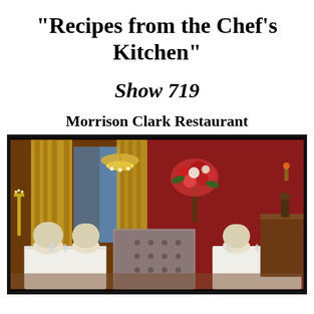"Recipes from the Chef's Kitchen"
Show 719
Morrison Clark Restaurant
[Figure (photo): Interior of Morrison Clark Restaurant dining room with red walls, white tablecloths, chandelier, gold curtains, floral arrangement, and ornate wooden furniture]